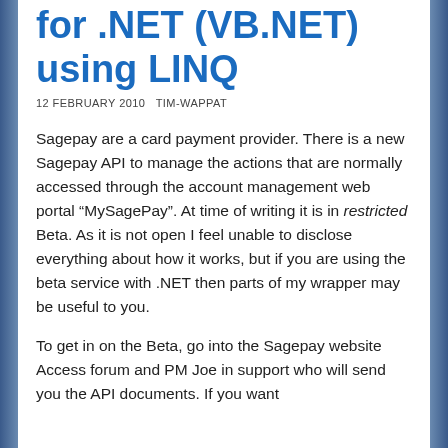for .NET (VB.NET) using LINQ
12 FEBRUARY 2010   TIM-WAPPAT
Sagepay are a card payment provider. There is a new Sagepay API to manage the actions that are normally accessed through the account management web portal “MySagePay”. At time of writing it is in restricted Beta. As it is not open I feel unable to disclose everything about how it works, but if you are using the beta service with .NET then parts of my wrapper may be useful to you.
To get in on the Beta, go into the Sagepay website Access forum and PM Joe in support who will send you the API documents. If you want